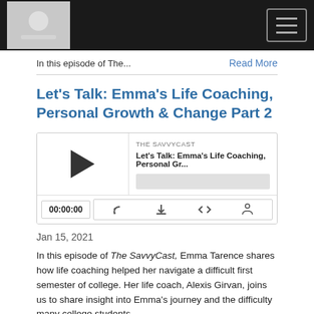THE SAVVYCAST — Navigation bar with logo and hamburger menu
In this episode of The...
Read More
Let's Talk: Emma's Life Coaching, Personal Growth & Change Part 2
[Figure (other): Podcast audio player widget for 'THE SAVVYCAST' episode 'Let's Talk: Emma's Life Coaching, Personal Gr...' showing play button, progress bar, timestamp 00:00:00, and controls for RSS, download, embed, and share.]
Jan 15, 2021
In this episode of The SavvyCast, Emma Tarence shares how life coaching helped her navigate a difficult first semester of college. Her life coach, Alexis Girvan, joins us to share insight into Emma's journey and the difficulty many college students